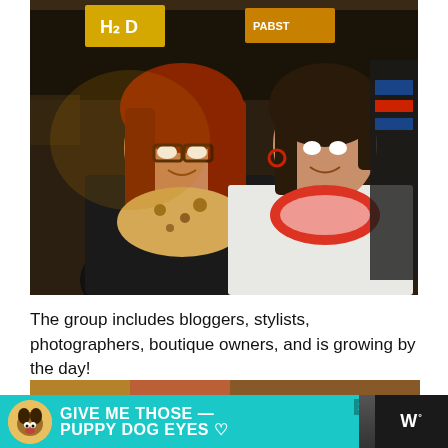[Figure (photo): Two women smiling and posing together indoors. The woman on the left has red hair, glasses, and wears a black top with a leopard print scarf. The woman on the right has dark hair, wears a white sleeveless top with a red and white patterned scarf/necklace. Background shows a retail or restaurant setting with shelving.]
The group includes bloggers, stylists, photographers, boutique owners, and is growing by the day!
[Figure (photo): Advertisement banner reading 'GIVE ME THOSE PUPPY DOG EYES' with a dog photo on the left, a heart symbol, a close button (x), and a logo on the right showing 'W°']